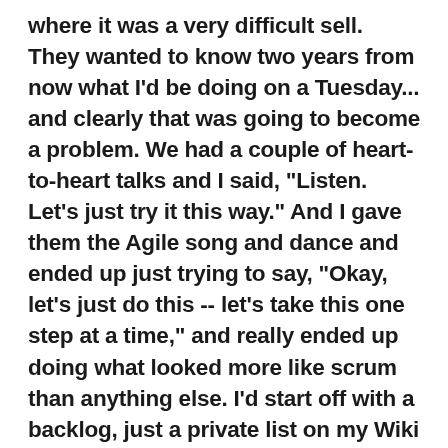where it was a very difficult sell. They wanted to know two years from now what I'd be doing on a Tuesday... and clearly that was going to become a problem. We had a couple of heart-to-heart talks and I said, "Listen. Let's just try it this way." And I gave them the Agile song and dance and ended up just trying to say, "Okay, let's just do this -- let's take this one step at a time," and really ended up doing what looked more like scrum than anything else. I'd start off with a backlog, just a private list on my Wiki of "here's the things I'm gonna do next and you tell me what's most [important]" -- it's really a matter of relationship building more than anything else. That's how people get to trust